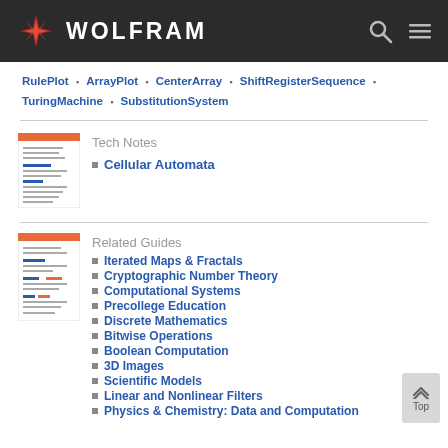WOLFRAM
RulePlot · ArrayPlot · CenterArray · ShiftRegisterSequence · TuringMachine · SubstitutionSystem
Tech Notes
Cellular Automata
Related Guides
Iterated Maps & Fractals
Cryptographic Number Theory
Computational Systems
Precollege Education
Discrete Mathematics
Bitwise Operations
Boolean Computation
3D Images
Scientific Models
Linear and Nonlinear Filters
Physics & Chemistry: Data and Computation